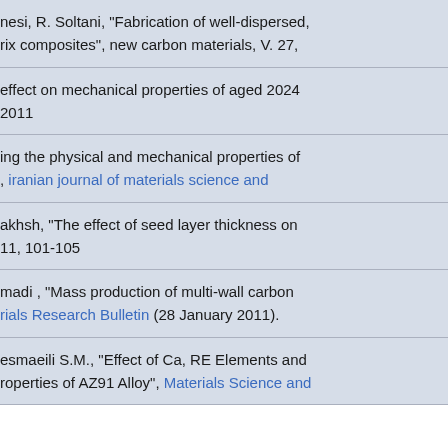nesi, R. Soltani, "Fabrication of well-dispersed, rix composites", new carbon materials, V. 27,
effect on mechanical properties of aged 2024 2011
ing the physical and mechanical properties of , iranian journal of materials science and
akhsh, "The effect of seed layer thickness on 11, 101-105
madi , "Mass production of multi-wall carbon rials Research Bulletin (28 January 2011).
esmaeili S.M., "Effect of Ca, RE Elements and roperties of AZ91 Alloy", Materials Science and